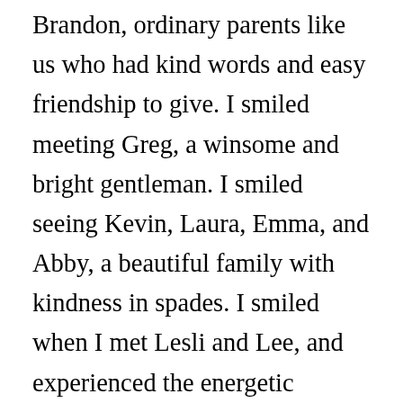Brandon, ordinary parents like us who had kind words and easy friendship to give. I smiled meeting Greg, a winsome and bright gentleman. I smiled seeing Kevin, Laura, Emma, and Abby, a beautiful family with kindness in spades. I smiled when I met Lesli and Lee, and experienced the energetic advocacy and mentoring possible when people care to see you succeed. I smiled meeting Chris, a man who immediately had words to say that I needed to hear, and a generous tenderness that left me feeling an enchanting mix of validation and inspiration. I smiled hearing it d...